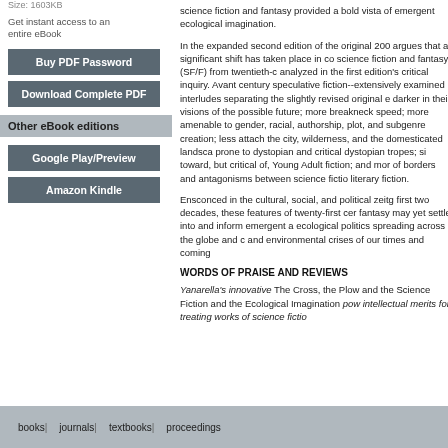Size: 1603KB
Get instant access to an entire eBook
Buy PDF Password
Download Complete PDF
Other eBook editions
Google Play/Preview
Amazon Kindle
science fiction and fantasy provided a bold vista of emergent ecological imagination.
In the expanded second edition of the original 200... argues that a significant shift has taken place in co... science fiction and fantasy (SF/F) from twentieth-c... analyzed in the first edition's critical inquiry. Avant... century speculative fiction--extensively examined ... interludes separating the slightly revised original e... darker in their visions of the possible future; more ... breakneck speed; more amenable to gender, racial,... authorship, plot, and subgenre creation; less attach... the city, wilderness, and the domesticated landsca... prone to dystopian and critical dystopian tropes; si... toward, but critical of, Young Adult fiction; and mor... of borders and antagonisms between science fictio... literary fiction.
Ensconced in the cultural, social, and political zeitg... first two decades, these features of twenty-first cer... fantasy may yet settle into and inform emergent a... ecological politics spreading across the globe and c... and environmental crises of our times and coming...
WORDS OF PRAISE AND REVIEWS
Yanarella's innovative The Cross, the Plow and the ... Science Fiction and the Ecological Imagination pow... intellectual merits for treating works of science fictio...
books | journals | textbooks | proceedings